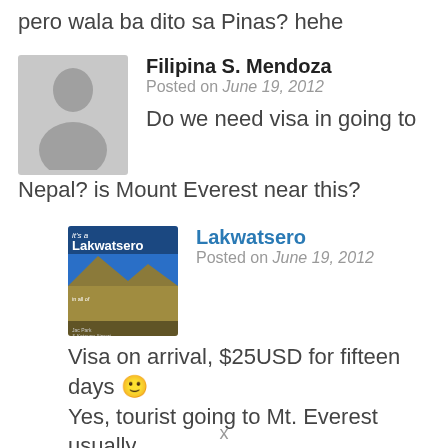pero wala ba dito sa Pinas? hehe
Filipina S. Mendoza
Posted on June 19, 2012

Do we need visa in going to Nepal? is Mount Everest near this?
Lakwatsero
Posted on June 19, 2012

Visa on arrival, $25USD for fifteen days 🙂
Yes, tourist going to Mt. Everest usually
x